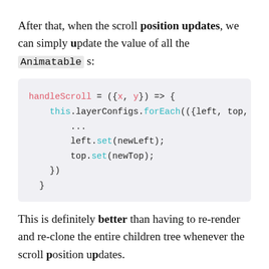After that, when the scroll position updates, we can simply update the value of all the Animatable s:
[Figure (screenshot): Code block showing handleScroll arrow function with this.layerConfigs.forEach destructuring left and top, then left.set(newLeft) and top.set(newTop)]
This is definitely better than having to re-render and re-clone the entire children tree whenever the scroll position updates.